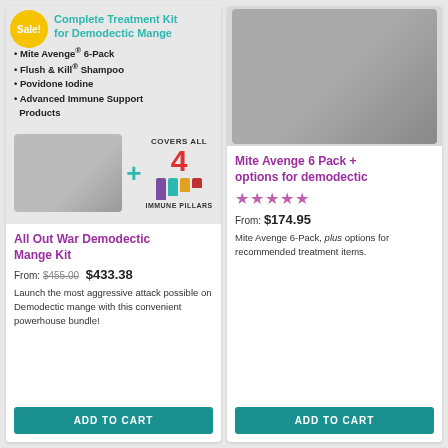Complete Treatment Kit for Demodectic Mange
Mite Avenge® 6-Pack
Flush & Kill® Shampoo
Povidone Iodine
Advanced Immune Support Products
[Figure (photo): Kit product photo with bottles and immune pillars graphic showing COVERS ALL 4 IMMUNE PILLARS]
All Out War Demodectic Mange Kit
From: $455.00 $433.38
Launch the most aggressive attack possible on Demodectic mange with this convenient powerhouse bundle!
ADD TO CART
[Figure (photo): Mite Avenge 6 Pack product photo with bottles and treatment packets]
Mite Avenge 6 Pack + options for demodectic
★★★★★
From: $174.95
Mite Avenge 6-Pack, plus options for recommended treatment items.
ADD TO CART